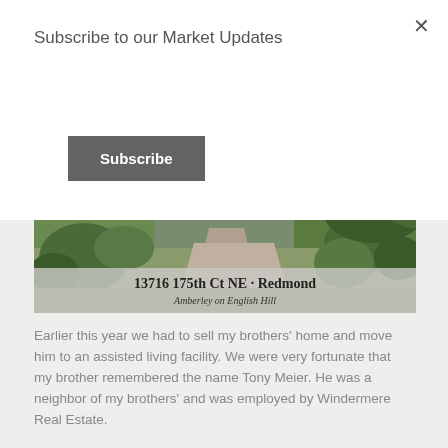Subscribe to our Market Updates
[Figure (screenshot): A 'Subscribe' button with dark gray background and white bold text]
[Figure (photo): Aerial or elevated view of a residential driveway surrounded by green lawn and shrubs. Overlay text reads '13716 175th Ct NE - Redmond' and 'Amberley on English Hill']
Earlier this year we had to sell my brothers' home and move him to an assisted living facility.  We were very fortunate that my brother remembered the name Tony Meier.  He was a neighbor of my brothers' and was employed by Windermere Real Estate.
From our first meeting with Tony we were impressed with his professionalism and knowledge.  He took time to explain the real estate trends in the area and what we could expect from his service.